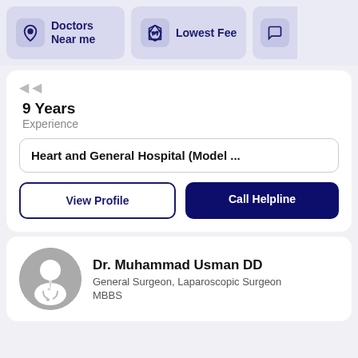Doctors Near me | Lowest Fee
9 Years
Experience
Heart and General Hospital (Model ...
View Profile
Call Helpline
Dr. Muhammad Usman DD
General Surgeon, Laparoscopic Surgeon
MBBS